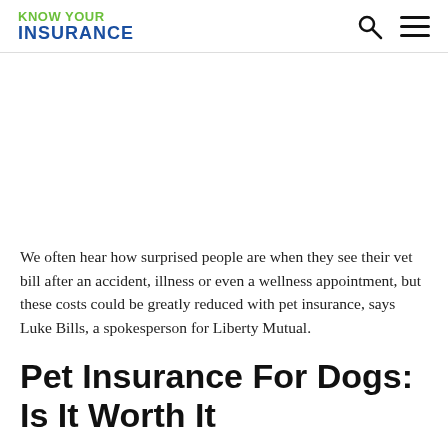KNOW YOUR INSURANCE
We often hear how surprised people are when they see their vet bill after an accident, illness or even a wellness appointment, but these costs could be greatly reduced with pet insurance, says Luke Bills, a spokesperson for Liberty Mutual.
Pet Insurance For Dogs: Is It Worth It